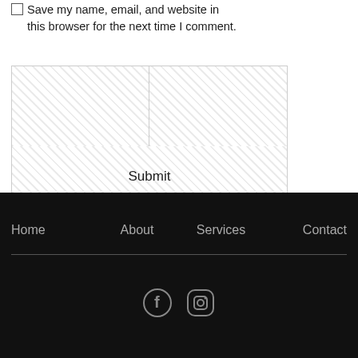☐ Save my name, email, and website in this browser for the next time I comment.
Submit
Home  About  Services  Contact